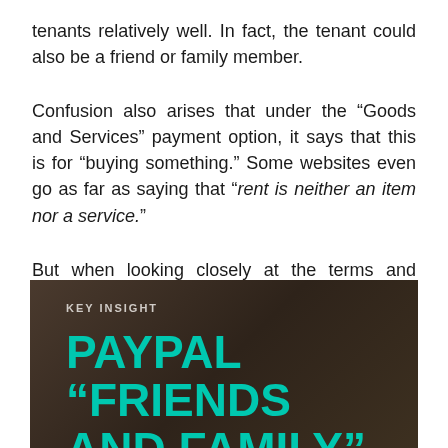tenants relatively well. In fact, the tenant could also be a friend or family member.
Confusion also arises that under the “Goods and Services” payment option, it says that this is for “buying something.” Some websites even go as far as saying that “rent is neither an item nor a service.”
But when looking closely at the terms and conditions of a personal PayPal account, it becomes evident that you can’t use PP “Friends and Family” for rent payments.
[Figure (infographic): Dark brown background infographic with 'KEY INSIGHT' label in small caps and bold teal/turquoise heading text reading 'PAYPAL “FRIENDS AND FAMILY”']